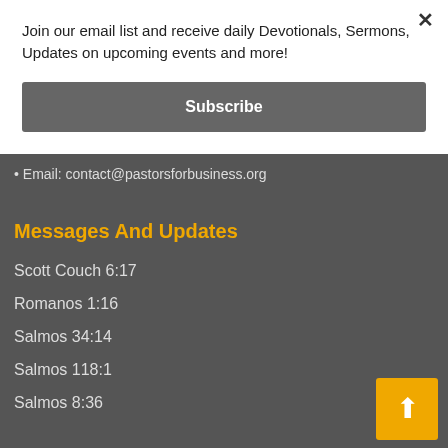Join our email list and receive daily Devotionals, Sermons, Updates on upcoming events and more!
Subscribe
• Email: contact@pastorsforbusiness.org
Messages And Updates
Scott Couch 6:17
Romanos 1:16
Salmos 34:14
Salmos 118:1
Salmos 8:36